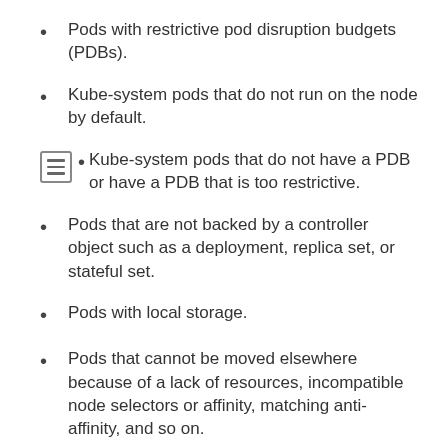Pods with restrictive pod disruption budgets (PDBs).
Kube-system pods that do not run on the node by default.
Kube-system pods that do not have a PDB or have a PDB that is too restrictive.
Pods that are not backed by a controller object such as a deployment, replica set, or stateful set.
Pods with local storage.
Pods that cannot be moved elsewhere because of a lack of resources, incompatible node selectors or affinity, matching anti-affinity, and so on.